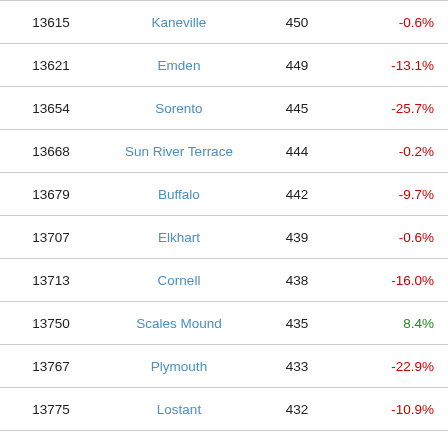| Rank | Name | Population | Change |
| --- | --- | --- | --- |
| 13615 | Kaneville | 450 | -0.6% |
| 13621 | Emden | 449 | -13.1% |
| 13654 | Sorento | 445 | -25.7% |
| 13668 | Sun River Terrace | 444 | -0.2% |
| 13679 | Buffalo | 442 | -9.7% |
| 13707 | Elkhart | 439 | -0.6% |
| 13713 | Cornell | 438 | -16.0% |
| 13750 | Scales Mound | 435 | 8.4% |
| 13767 | Plymouth | 433 | -22.9% |
| 13775 | Lostant | 432 | -10.9% |
| 13787 | Hoffman | 431 | -6.9% |
| 13796 | Tallula | 431 | -32.3% |
| 13803 | Norwood | 430 | -8.8% |